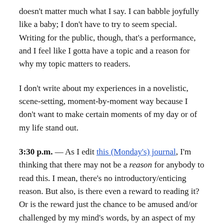doesn’t matter much what I say. I can babble joyfully like a baby; I don’t have to try to seem special. Writing for the public, though, that’s a performance, and I feel like I gotta have a topic and a reason for why my topic matters to readers.
I don’t write about my experiences in a novelistic, scene-setting, moment-by-moment way because I don’t want to make certain moments of my day or of my life stand out.
3:30 p.m. — As I edit this (Monday’s) journal, I’m thinking that there may not be a reason for anybody to read this. I mean, there’s no introductory/enticing reason. But also, is there even a reward to reading it? Or is the reward just the chance to be amused and/or challenged by my mind’s words, by an aspect of my